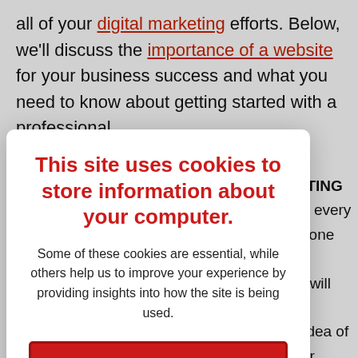all of your digital marketing efforts. Below, we'll discuss the importance of a website for your business success and what you need to know about getting started with a professional
This site uses cookies to store information about your computer.
Some of these cookies are essential, while others help us to improve your experience by providing insights into how the site is being used.
ACCEPT RECOMMENDED SETTINGS
LEARN MORE
KETING s to every ckbone ion, ine will it's ar idea of ts or h you age with umers to